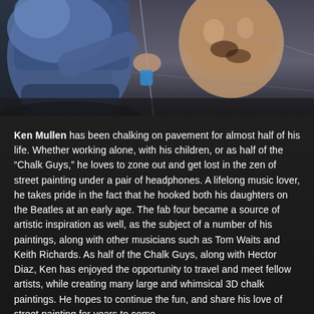[Figure (photo): Photograph of Ken Mullen, a chalk artist, crouching and working on a large chalk pavement painting. He is wearing a blue hoodie and appears to be painting a portrait on dark pavement or a dark surface. The artwork visible includes a large realistic face/head.]
Ken Mullen has been chalking on pavement for almost half of his life.  Whether working alone, with his children, or as half of the "Chalk Guys," he loves to zone out and get lost in the zen of street painting under a pair of headphones.  A lifelong music lover, he takes pride in the fact that he hooked both his daughters on the Beatles at an early age.  The fab four became a source of artistic inspiration as well, as the subject of a number of his paintings, along with other musicians such as Tom Waits and Keith Richards.  As half of the Chalk Guys, along with Hector Diaz, Ken has enjoyed the opportunity to travel and meet fellow artists, while creating many large and whimsical 3D chalk paintings.  He hopes to continue the fun, and share his love of street painting for years to come.